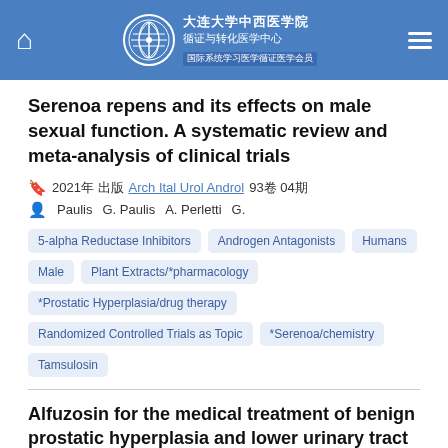大连大学中西医学院 循证与转化医学中心
Serenoa repens and its effects on male sexual function. A systematic review and meta-analysis of clinical trials
2021年 出版 Arch Ital Urol Androl 93卷 04期
Paulis  G. Paulis  A. Perletti  G.
5-alpha Reductase Inhibitors
Androgen Antagonists
Humans
Male
Plant Extracts/*pharmacology
*Prostatic Hyperplasia/drug therapy
Randomized Controlled Trials as Topic
*Serenoa/chemistry
Tamsulosin
Alfuzosin for the medical treatment of benign prostatic hyperplasia and lower urinary tract symptoms: a systematic review of the literature and narrative synthesis